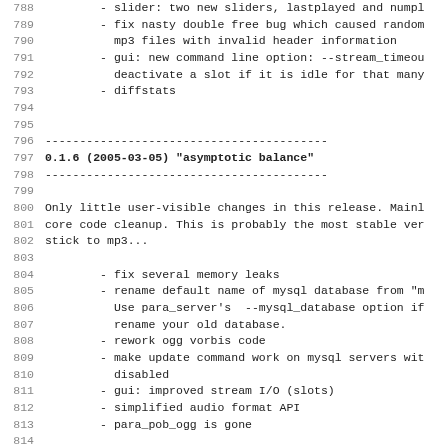788         - slider: two new sliders, lastplayed and numpl
789         - fix nasty double free bug which caused random
790           mp3 files with invalid header information
791         - gui: new command line option: --stream_timeout
792           deactivate a slot if it is idle for that many
793         - diffstats
794
795
796 -----------------------------------------
797 0.1.6 (2005-03-05) "asymptotic balance"
798 -----------------------------------------
799
800 Only little user-visible changes in this release. Mainly
801 core code cleanup. This is probably the most stable ver
802 stick to mp3...
803
804         - fix several memory leaks
805         - rename default name of mysql database from "m
806           Use para_server's  --mysql_database option if
807           rename your old database.
808         - rework ogg vorbis code
809         - make update command work on mysql servers wit
810           disabled
811         - gui: improved stream I/O (slots)
812         - simplified audio format API
813         - para_pob_ogg is gone
814
815 -----------------------------------------
816 0.1.5 (2004-12-31) "opaque eternity"
817 -----------------------------------------
818
819 Let's slide gently into the new year.